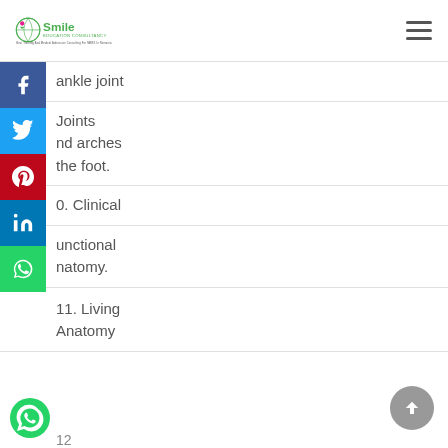Smile Education Consultancy
ankle joint
Joints
nd arches
the foot.
0. Clinical
unctional
natomy.
11. Living
Anatomy
12